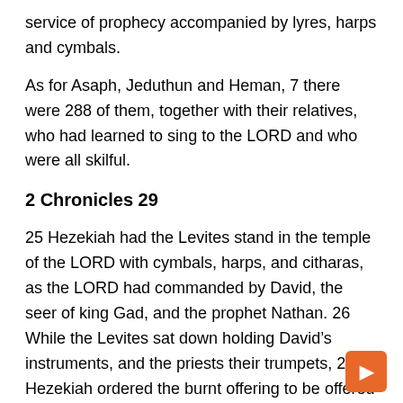service of prophecy accompanied by lyres, harps and cymbals.
As for Asaph, Jeduthun and Heman, 7 there were 288 of them, together with their relatives, who had learned to sing to the LORD and who were all skilful.
2 Chronicles 29
25 Hezekiah had the Levites stand in the temple of the LORD with cymbals, harps, and citharas, as the LORD had commanded by David, the seer of king Gad, and the prophet Nathan. 26 While the Levites sat down holding David’s instruments, and the priests their trumpets, 27 Hezekiah ordered the burnt offering to be offered on the